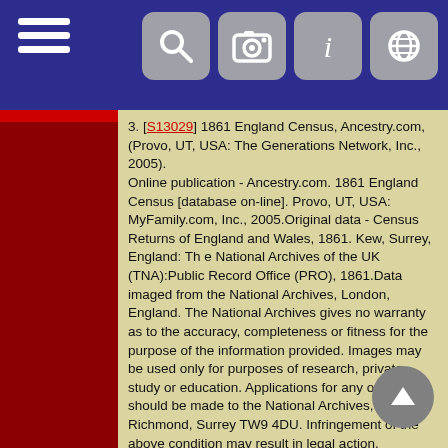Navigation bar with hamburger menu and icons
[S13029] 1861 England Census, Ancestry.com, (Provo, UT, USA: The Generations Network, Inc., 2005).
Online publication - Ancestry.com. 1861 England Census [database on-line]. Provo, UT, USA: MyFamily.com, Inc., 2005.Original data - Census Returns of England and Wales, 1861. Kew, Surrey, England: Th e National Archives of the UK (TNA):Public Record Office (PRO), 1861.Data imaged from the National Archives, London, England. The National Archives gives no warranty as to the accuracy, completeness or fitness for the purpose of the information provided. Images may be used only for purposes of research, private study or education. Applications for any other use should be made to the National Archives, Kew, Richmond, Surrey TW9 4DU. Infringement of the above condition may result in legal action.
[S15439] 1841 England Census, Ancestry.com, (Provo, UT, USA: The Generations Network, Inc., 2006).
Online publication - Ancestry.com. 1841 England Census [database on-line]. Provo, UT, USA: The Generations Network, Inc., 2006.Original data -